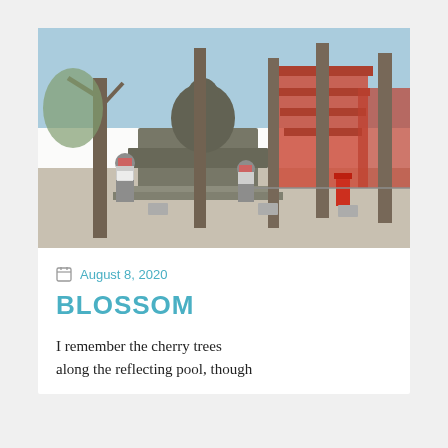[Figure (photo): Outdoor scene at a Japanese temple complex showing a large seated Buddha statue on a stone pedestal, small stone jizo statues with pink bibs/aprons and caps, tall bare trees, a red pagoda in the background, and a red mailbox or post, under a clear sky.]
August 8, 2020
BLOSSOM
I remember the cherry trees along the reflecting pool, though